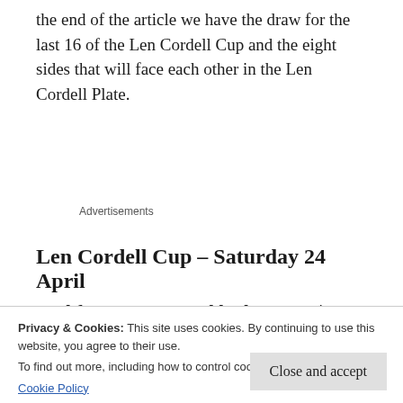the end of the article we have the draw for the last 16 of the Len Cordell Cup and the eight sides that will face each other in the Len Cordell Plate.
Advertisements
Len Cordell Cup  – Saturday 24 April
Cockfosters  2 — 2  Hoddesdon Town | Chalk
Privacy & Cookies: This site uses cookies. By continuing to use this website, you agree to their use.
To find out more, including how to control cookies, see here:
Cookie Policy
Close and accept
rivals Hoddesdon at Chalk Lane. James Verney